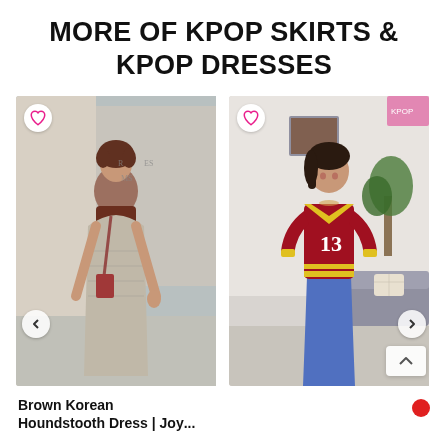MORE OF KPOP SKIRTS & KPOP DRESSES
[Figure (photo): Young woman wearing brown turtleneck under houndstooth slip dress, carrying a bag, photographed outdoors on a street]
[Figure (photo): Young woman wearing a red and yellow number 13 crop top jersey with jeans, photographed indoors]
Brown Korean Houndstooth Dress | Joy...